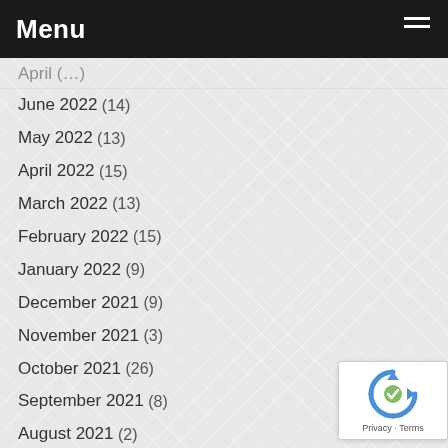Menu
June 2022 (14)
May 2022 (13)
April 2022 (15)
March 2022 (13)
February 2022 (15)
January 2022 (9)
December 2021 (9)
November 2021 (3)
October 2021 (26)
September 2021 (8)
August 2021 (2)
July 2021 (6)
June 2021 (1)
May 2021 (4)
April 2021 (35)